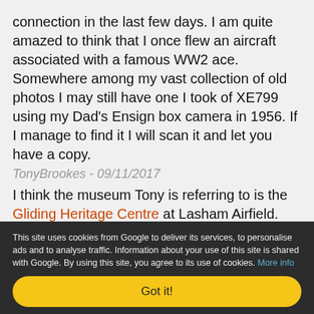connection in the last few days. I am quite amazed to think that I once flew an aircraft associated with a famous WW2 ace. Somewhere among my vast collection of old photos I may still have one I took of XE799 using my Dad's Ensign box camera in 1956. If I manage to find it I will scan it and let you have a copy.
TonyBrookes - 09/11/2017
I think the museum Tony is referring to is the Gliding Heritage Centre at Lasham Airfield.
Mary - 09/11/2017
Add a comment
This site uses cookies from Google to deliver its services, to personalise ads and to analyse traffic. Information about your use of this site is shared with Google. By using this site, you agree to its use of cookies. More info
Got it!